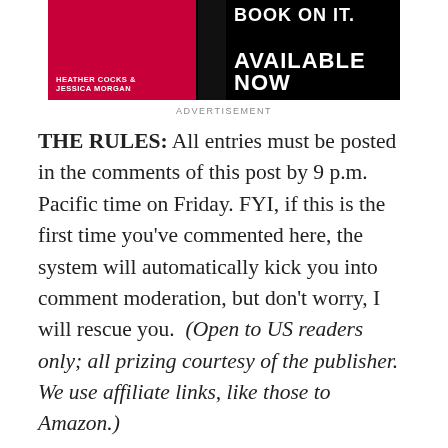[Figure (illustration): Advertisement banner for a book by Heather Cocks & Jessica Morgan. Left side: red background with author names. Right side: black background with text 'book on it.' and 'AVAILABLE NOW']
ADVERTISEMENT
THE RULES: All entries must be posted in the comments of this post by 9 p.m. Pacific time on Friday. FYI, if this is the first time you’ve commented here, the system will automatically kick you into comment moderation, but don’t worry, I will rescue you. (Open to US readers only; all prizing courtesy of the publisher. We use affiliate links, like those to Amazon.)
[Figure (illustration): Advertisement banner: What if a prince marries an American? We wrote the (bestselling) book on that. The Royal We book ad with Union Jack imagery.]